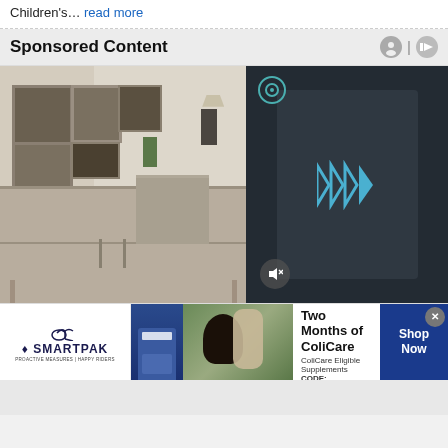Children's… read more
Sponsored Content
[Figure (photo): Split image: left side shows a styled living room with a wooden sideboard, framed artwork on a chevron-patterned wall, and a lamp; right side shows a dark video overlay with play arrows and a mute button, with a person visible in the background.]
[Figure (photo): SmartPak advertisement banner. Shows SmartPak logo with horse icon, a product image, a photo of a person with a horse, and text: '50% Off Two Months of ColiCare, ColiCare Eligible Supplements, CODE: COLICARE10', with a 'Shop Now' blue button and a close X button.]